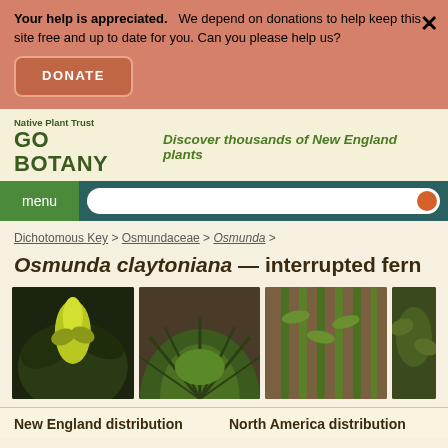Your help is appreciated. We depend on donations to help keep this site free and up to date for you. Can you please help us?
DONATE
Native Plant Trust GO BOTANY — Discover thousands of New England plants
menu
Dichotomous Key > Osmundaceae > Osmunda >
Osmunda claytoniana — interrupted fern
[Figure (photo): Photo of Osmunda claytoniana fern with dark fronds and yellow-green emerging growth]
[Figure (photo): Photo of Osmunda claytoniana showing circular arrangement of green fronds from above]
[Figure (photo): Photo of tall upright Osmunda claytoniana fronds in a cluster]
[Figure (photo): Partial photo of Osmunda claytoniana foliage]
New England distribution
North America distribution